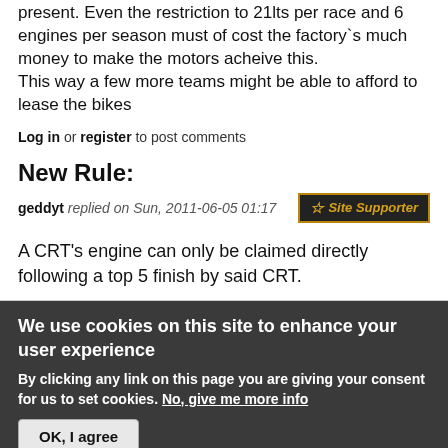present. Even the restriction to 21lts per race and 6 engines per season must of cost the factory`s much money to make the motors acheive this. This way a few more teams might be able to afford to lease the bikes
Log in or register to post comments
New Rule:
geddyt replied on Sun, 2011-06-05 01:17
A CRT's engine can only be claimed directly following a top 5 finish by said CRT.
We use cookies on this site to enhance your user experience
By clicking any link on this page you are giving your consent for us to set cookies. No, give me more info
OK, I agree